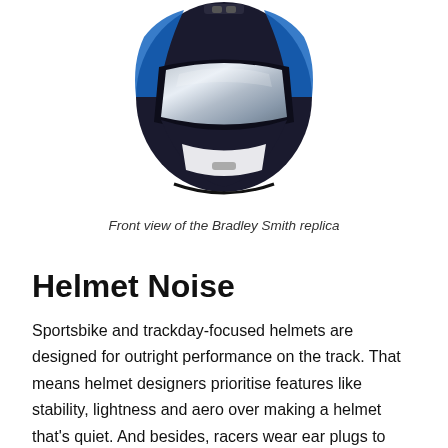[Figure (photo): Front view of a motorcycle helmet (Bradley Smith replica) — black with blue accents and silver mirrored visor]
Front view of the Bradley Smith replica
Helmet Noise
Sportsbike and trackday-focused helmets are designed for outright performance on the track. That means helmet designers prioritise features like stability, lightness and aero over making a helmet that's quiet. And besides, racers wear ear plugs to protect their hearing (as should you) so reducing helmet noise isn't that important for a sportsbike helmet.